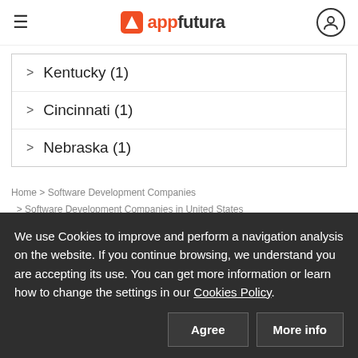appfutura
Kentucky (1)
Cincinnati (1)
Nebraska (1)
Home > Software Development Companies > Software Development Companies in United States > Software Development Companies in Minnesota
We use Cookies to improve and perform a navigation analysis on the website. If you continue browsing, we understand you are accepting its use. You can get more information or learn how to change the settings in our Cookies Policy.